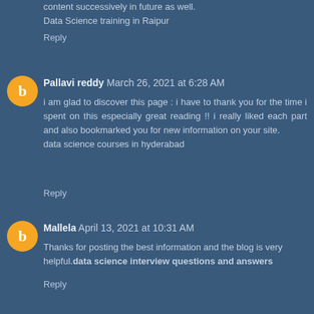content successively in future as well.
Data Science training in Raipur
Reply
Pallavi reddy  March 26, 2021 at 6:28 AM
i am glad to discover this page : i have to thank you for the time i spent on this especially great reading !! i really liked each part and also bookmarked you for new information on your site.
data science courses in hyderabad
Reply
Mallela  April 13, 2021 at 10:31 AM
Thanks for posting the best information and the blog is very helpful.data science interview questions and answers
Reply